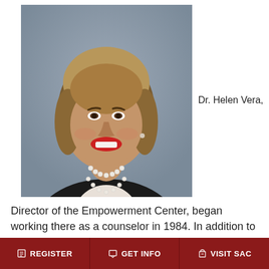[Figure (photo): Professional headshot of Dr. Helen Vera, a woman with short blonde-brown hair, red lipstick, wearing a black blazer over white top with a pearl necklace, smiling against a grey background.]
Dr. Helen Vera,
Director of the Empowerment Center, began working there as a counselor in 1984. In addition to advising
REGISTER   GET INFO   VISIT SAC